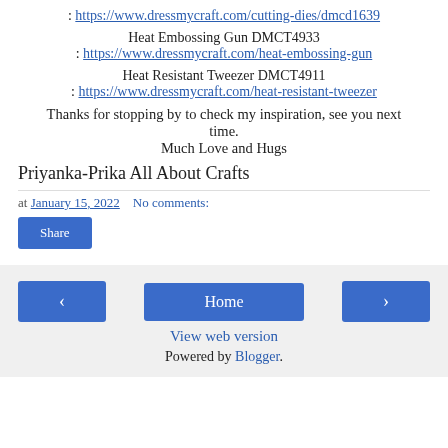: https://www.dressmycraft.com/cutting-dies/dmcd1639
Heat Embossing Gun DMCT4933
: https://www.dressmycraft.com/heat-embossing-gun
Heat Resistant Tweezer DMCT4911
: https://www.dressmycraft.com/heat-resistant-tweezer
Thanks for stopping by to check my inspiration, see you next time.
Much Love and Hugs
Priyanka-Prika All About Crafts
at January 15, 2022   No comments:
Share
‹
Home
›
View web version
Powered by Blogger.